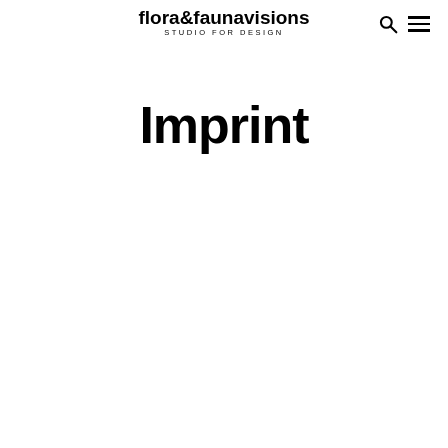flora&faunavisions STUDIO FOR DESIGN
Imprint